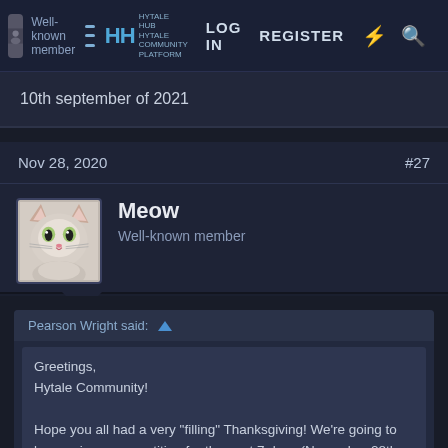Well-known member | HYTALE HUB | LOG IN | REGISTER
10th september of 2021
Nov 28, 2020  #27
Meow
Well-known member
Pearson Wright said: ↑
Greetings,
Hytale Community!

Hope you all had a very "filling" Thanksgiving! We're going to be running a competition for the next 7 days (November 28th - December 5th), and whoever manages to guess the date in closest proximity to the actual release date of Hytale Beta will win $100 and a [premium membership]...